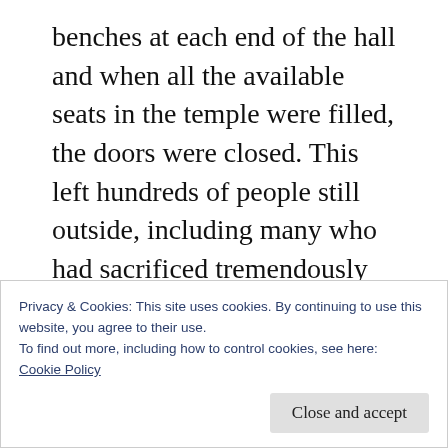benches at each end of the hall and when all the available seats in the temple were filled, the doors were closed. This left hundreds of people still outside, including many who had sacrificed tremendously for the temple's construction and had come long distances to attend the dedication. Sensing their disappointment, the Prophet directed them to hold an overflow meeting in the schoolhouse just to the west. The dedicatory service was repeated a second time the following Thursday
Privacy & Cookies: This site uses cookies. By continuing to use this website, you agree to their use.
To find out more, including how to control cookies, see here:
Cookie Policy